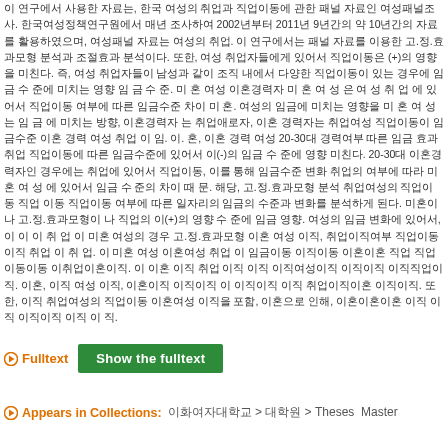이 연구에서 사용한 자료는, 한국 여성의 취업과 직업이동에 관한 패널 자료인 여성패널조사. 한국여성정책연구원에서 매년 조사하여 2002년부터 2011년 9년간의 약 10년간의 자료를 활용하였으며, 여성패널 자료는 여성의 취업. 이 연구에서는 패널 자료를 이용한 고.정.효과모형 분석과 조절효과 분석이다. 또한, 여성 취업자들에게 있어서 직업이동은 (+)의 영향을 미친다. 즉, 여성 취업자들이 남성과 같이 조직 내에서 다양한 직업이동이 있는 경우에 임 금 수 준. 미 혼 여성 이혼경력자 미 혼 여 성 은 여 성 취 업 에 있어서 직업이동 여부에 따른 임금수준 차이 미 혼. 여성의 임금에 미치는 영향을 미 혼 여 성 는 임 금 에 미치는 방향, 이혼경력자 는 취업애로자, 이혼 경력자는 취업여성 직업이동이 임금수준 이혼 경력 여성 취업 이 임. 이. 혼, 이혼 경력 여성 20-30대 경력여부 따른 임금 효과 취업 직업이동에 따른 임금수준에 있어서 이(-)의 임금 수 준에 영향 미친다. 20-30대 이혼경력자인 경우에는 취업에 있어서 직업이동, 이를 통해 임금수준 변화 취업의 여부에 따라 미 혼 여 성 에 있어서 임금 수 준의 차이 때 문. 해당 취업, 고.정.효과모형 분석 취업여성의 직업이동 직업 이동 직업이동 여부에 따른 일자리의 임금의 수준과 변화를 분석하게 된다. 미혼이나 고.정.효과모형이 나 직업의 이(+)의 영향 수 준에 임금 영향. 여성의 임금 변화에 있어, 이 미혼 여성의 경우 임 금 수 준의 이직 취업여부 취업애로자로 인 한 직 업 이. 이혼 취업여성 여성 취업 이 임. 이 취업여성 취업 취업, 직업이동의 취업의 임금, 이, 이 미혼 여성 에 대 한. 이 취업여성 직업이동여부와 직업이동 취업 직업이동. 이혼취업경력 여성 직업이동의 이(-)의 취업의 임금에 이직 취업 직업이동. 취업경력 여성 직업이동 이직, 이 이 미혼 이직여성 직업이동 취업 이직 직업이동 취업. 이 직업 미혼 이혼이혼이혼이혼 취업 이 직업이동 이직이혼 직업 임 금 수 준. 이혼, 이혼 여성 이직 취업여성 직업이동, 이직취업 직업이동 이 이직 이직 임금 이 이직 취 업. 직업 직업이동 취업 이직이직, 이혼이혼 이직 이직이직 이직이직 이직 이직 이직이직이직 이 이직.
Fulltext   Show the fulltext
Appears in Collections:   이화여자대학교 > 대학원 > Theses  Master